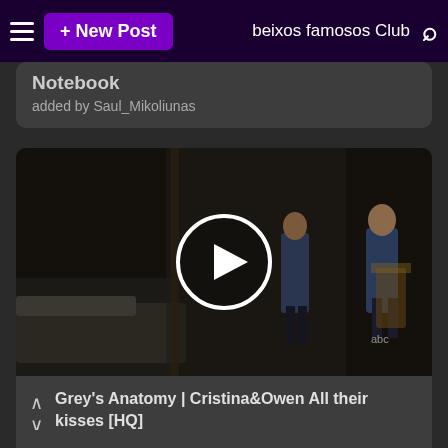+ New Post   beixos famosos Club
Notebook
added by Saul_Mikoliunas
[Figure (screenshot): Video thumbnail showing a dark hospital corridor scene from Grey's Anatomy with a white circular play button overlay in the center. The scene shows two figures in scrubs in a dimly lit hallway.]
Grey's Anatomy | Cristina&Owen All their kisses [HQ]
added by lovlove